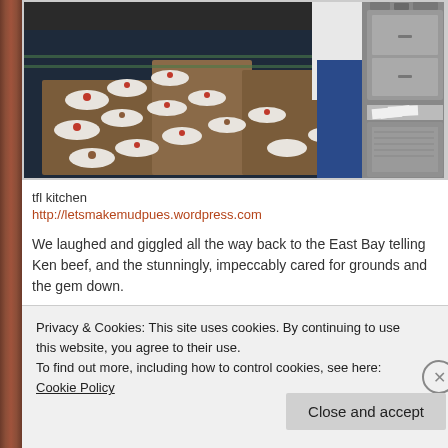[Figure (photo): Kitchen scene showing a long dark table with multiple white plates and small desserts arranged on wooden boards, with a person in white chef attire visible in the background. Right side shows stainless steel kitchen equipment.]
tfl kitchen
http://letsmakemudpues.wordpress.com
We laughed and giggled all the way back to the East Bay telling Ken beef, and the stunningly, impeccably cared for grounds and the gem down.
Dining at the French Laundry has been the most relaxing and memo treated like royalty by the most courteous staff. It was truly remarka
Privacy & Cookies: This site uses cookies. By continuing to use this website, you agree to their use.
To find out more, including how to control cookies, see here: Cookie Policy
Close and accept